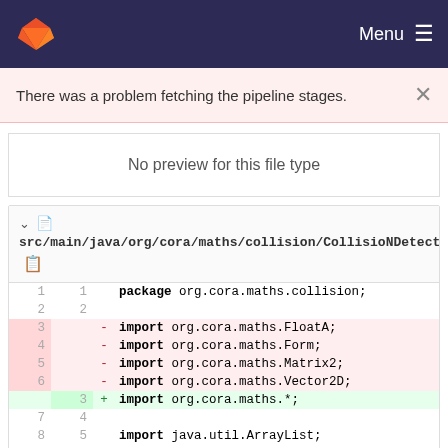GitLab navigation bar with Menu
There was a problem fetching the pipeline stages.
No preview for this file type
src/main/java/org/cora/maths/collision/CollisionDetector.java
[Figure (screenshot): Code diff showing Java file changes: removed imports for FloatA, Form, Matrix2, Vector2D and replaced with wildcard import org.cora.maths.*]